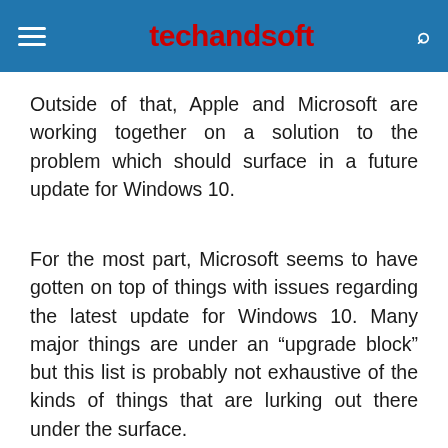techandsoft
Outside of that, Apple and Microsoft are working together on a solution to the problem which should surface in a future update for Windows 10.
For the most part, Microsoft seems to have gotten on top of things with issues regarding the latest update for Windows 10. Many major things are under an “upgrade block” but this list is probably not exhaustive of the kinds of things that are lurking out there under the surface.